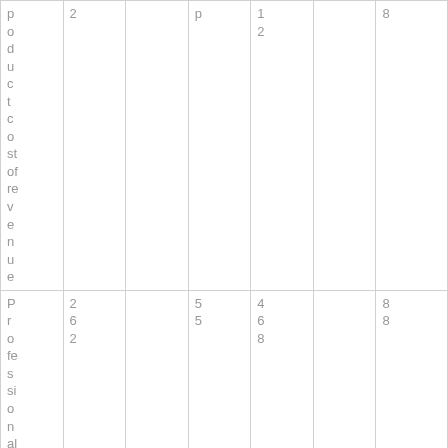| P
r
o
d
u
c
t
c
o
st
of
re
v
e
n
u
e | 2 |  | p |  | 1
2 |  | 8 |
| P
r
o
fe
s
si
o
n
al
s
er
vi | 2
6
2 |  | 5
5 |  | 4
6
8 |  | 8
8 |